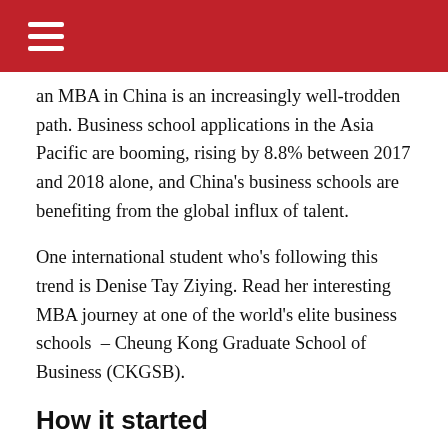an MBA in China is an increasingly well-trodden path. Business school applications in the Asia Pacific are booming, rising by 8.8% between 2017 and 2018 alone, and China's business schools are benefiting from the global influx of talent.
One international student who's following this trend is Denise Tay Ziying. Read her interesting MBA journey at one of the world's elite business schools – Cheung Kong Graduate School of Business (CKGSB).
How it started
Having graduated with an undergraduate degree in accounting and finance from the UK's University of Manchester, Denise moved back to her home country